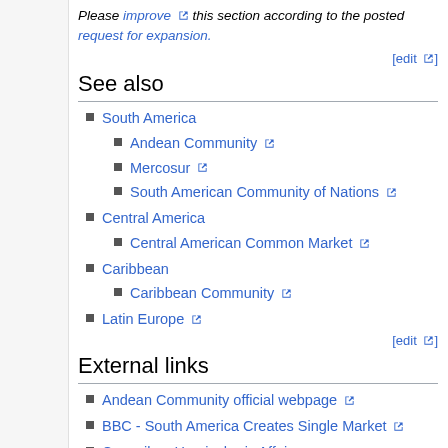Please improve this section according to the posted request for expansion.
[edit]
See also
South America
Andean Community
Mercosur
South American Community of Nations
Central America
Central American Common Market
Caribbean
Caribbean Community
Latin Europe
[edit]
External links
Andean Community official webpage
BBC - South America Creates Single Market
Council on Hemispheric Affairs
Latin American Studies